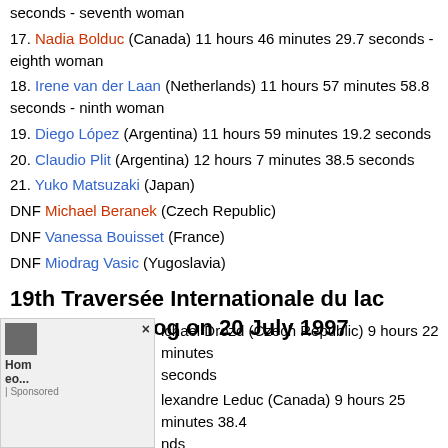seconds - seventh woman
17. Nadia Bolduc (Canada) 11 hours 46 minutes 29.7 seconds - eighth woman
18. Irene van der Laan (Netherlands) 11 hours 57 minutes 58.8 seconds - ninth woman
19. Diego López (Argentina) 11 hours 59 minutes 19.2 seconds
20. Claudio Plit (Argentina) 12 hours 7 minutes 38.5 seconds
21. Yuko Matsuzaki (Japan)
DNF Michael Beranek (Czech Republic)
DNF Vanessa Bouisset (France)
DNF Miodrag Vasic (Yugoslavia)
19th Traversée Internationale du lac Memphrémagog on 20 July 1997
ichael Drozd (Czech Republic) 9 hours 22 minutes seconds
lexandre Leduc (Canada) 9 hours 25 minutes 38.4 nds